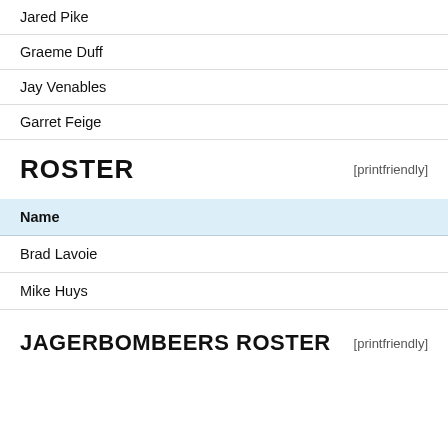Jared Pike
Graeme Duff
Jay Venables
Garret Feige
ROSTER
| Name |
| --- |
| Brad Lavoie |
| Mike Huys |
JAGERBOMBEERS ROSTER